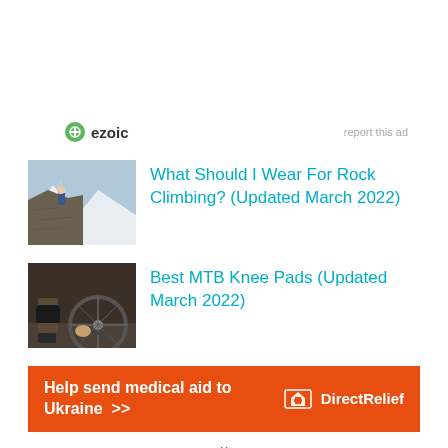[Figure (logo): Ezoic logo and 'report this ad' link bar]
[Figure (photo): Rock climber on a rocky mountain with snowy peaks in background]
What Should I Wear For Rock Climbing? (Updated March 2022)
[Figure (photo): Person working on a mountain bike wheel with knee pads visible]
Best MTB Knee Pads (Updated March 2022)
[Figure (infographic): Direct Relief orange banner ad: Help send medical aid to Ukraine >> with Direct Relief logo]